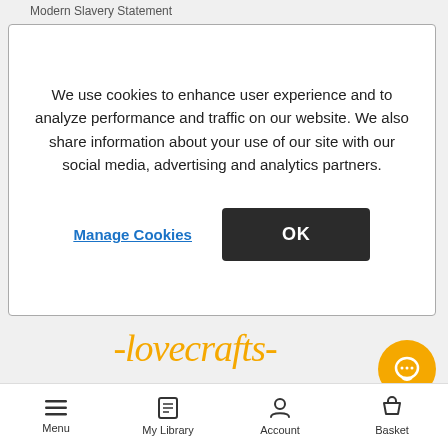Modern Slavery Statement
We use cookies to enhance user experience and to analyze performance and traffic on our website. We also share information about your use of our site with our social media, advertising and analytics partners.
Manage Cookies
OK
[Figure (logo): LoveCrafts logo in orange cursive script with dashes on either side: -lovecrafts-]
[Figure (other): Orange circular chat/support button icon]
Menu  My Library  Account  Basket